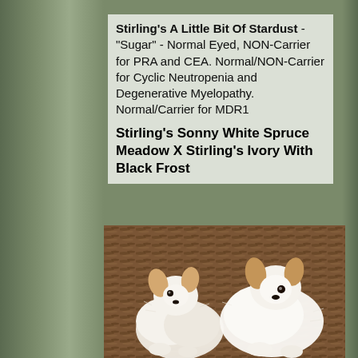Stirling's A Little Bit Of Stardust - "Sugar" - Normal Eyed, NON-Carrier for PRA and CEA. Normal/NON-Carrier for Cyclic Neutropenia and Degenerative Myelopathy.  Normal/Carrier for MDR1
Stirling's Sonny White Spruce Meadow X Stirling's Ivory With Black Frost
[Figure (photo): Two small Sheltie (Shetland Sheepdog) puppies with white and light brown/sable fur, sitting on brown ground/mulch, facing slightly toward each other.]